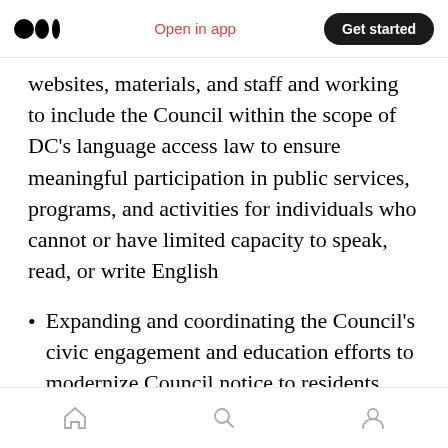Open in app | Get started
websites, materials, and staff and working to include the Council within the scope of DC’s language access law to ensure meaningful participation in public services, programs, and activities for individuals who cannot or have limited capacity to speak, read, or write English
Expanding and coordinating the Council’s civic engagement and education efforts to modernize Council notice to residents beyond the DC Register and individual Council office
Home | Search | Profile